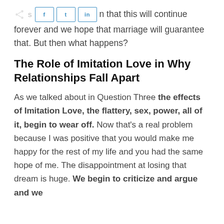n that this will continue forever and we hope that marriage will guarantee that. But then what happens?
The Role of Imitation Love in Why Relationships Fall Apart
As we talked about in Question Three the effects of Imitation Love, the flattery, sex, power, all of it, begin to wear off. Now that's a real problem because I was positive that you would make me happy for the rest of my life and you had the same hope of me. The disappointment at losing that dream is huge. We begin to criticize and argue and we